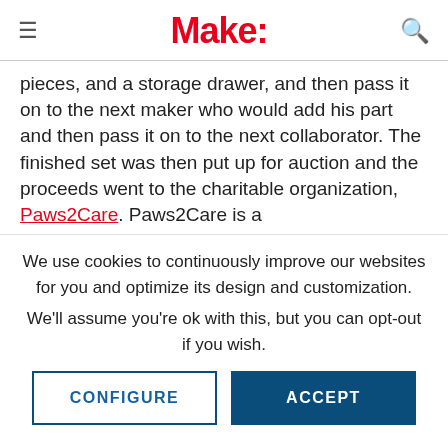Make:
pieces, and a storage drawer, and then pass it on to the next maker who would add his part and then pass it on to the next collaborator. The finished set was then put up for auction and the proceeds went to the charitable organization, Paws2Care. Paws2Care is a
We use cookies to continuously improve our websites for you and optimize its design and customization.
We'll assume you're ok with this, but you can opt-out if you wish.
CONFIGURE
ACCEPT